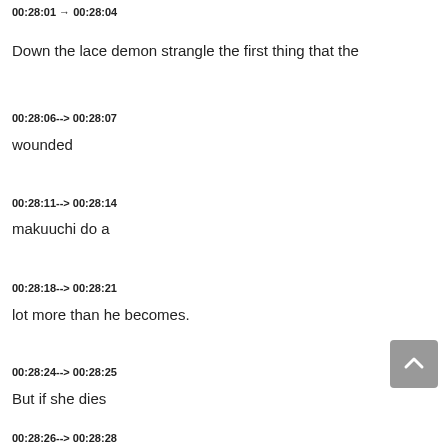00:28:01 --> 00:28:04
Down the lace demon strangle the first thing that the
00:28:06--> 00:28:07
wounded
00:28:11--> 00:28:14
makuuchi do a
00:28:18--> 00:28:21
lot more than he becomes.
00:28:24--> 00:28:25
But if she dies
00:28:26--> 00:28:28